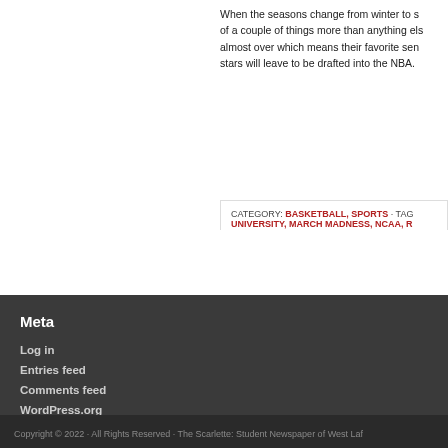When the seasons change from winter to spring, sports fans think of a couple of things more than anything else. College basketball is almost over which means their favorite seniors and other talented stars will leave to be drafted into the NBA.
CATEGORY: BASKETBALL, SPORTS · TAG: UNIVERSITY, MARCH MADNESS, NCAA, R...
Log in
Entries feed
Comments feed
WordPress.org
Copyright © 2022 · All Rights Reserved · The Scarlette: Student Newspaper of West Laf...